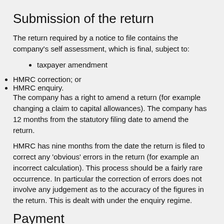Submission of the return
The return required by a notice to file contains the company's self assessment, which is final, subject to:
taxpayer amendment
HMRC correction; or
HMRC enquiry.
The company has a right to amend a return (for example changing a claim to capital allowances). The company has 12 months from the statutory filing date to amend the return.
HMRC has nine months from the date the return is filed to correct any 'obvious' errors in the return (for example an incorrect calculation). This process should be a fairly rare occurrence. In particular the correction of errors does not involve any judgement as to the accuracy of the figures in the return. This is dealt with under the enquiry regime.
Payment